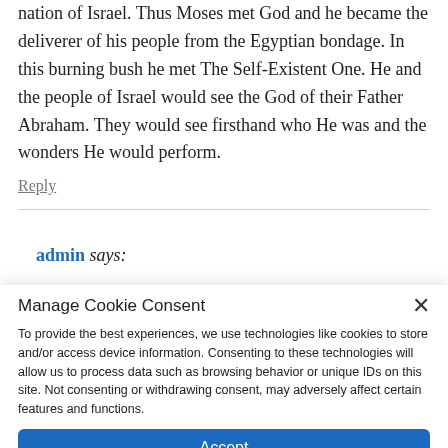nation of Israel. Thus Moses met God and he became the deliverer of his people from the Egyptian bondage. In this burning bush he met The Self-Existent One. He and the people of Israel would see the God of their Father Abraham. They would see firsthand who He was and the wonders He would perform.
Reply
admin says:
Manage Cookie Consent
To provide the best experiences, we use technologies like cookies to store and/or access device information. Consenting to these technologies will allow us to process data such as browsing behavior or unique IDs on this site. Not consenting or withdrawing consent, may adversely affect certain features and functions.
Accept
Cookie Policy
TrustedSite CERTIFIED SECURE